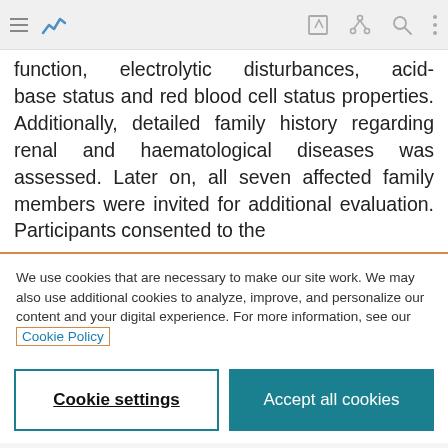toolbar with navigation icons
function, electrolytic disturbances, acid-base status and red blood cell status properties. Additionally, detailed family history regarding renal and haematological diseases was assessed. Later on, all seven affected family members were invited for additional evaluation. Participants consented to the
We use cookies that are necessary to make our site work. We may also use additional cookies to analyze, improve, and personalize our content and your digital experience. For more information, see our Cookie Policy
Cookie settings
Accept all cookies